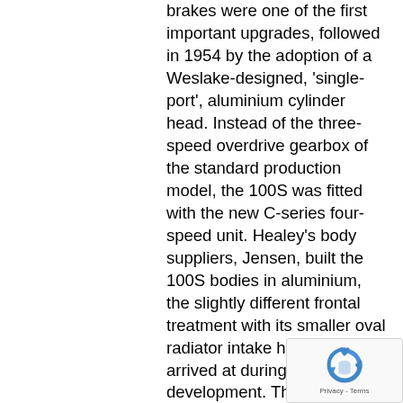brakes were one of the first important upgrades, followed in 1954 by the adoption of a Weslake-designed, 'single-port', aluminium cylinder head. Instead of the three-speed overdrive gearbox of the standard production model, the 100S was fitted with the new C-series four-speed unit. Healey's body suppliers, Jensen, built the 100S bodies in aluminium, the slightly different frontal treatment with its smaller oval radiator intake having been arrived at during development. There was no weather equipment, merely a low Perspex windscreen, while another of the model's distinctive features was its seats with their vertically
[Figure (other): reCAPTCHA badge with robot icon and Privacy - Terms text]